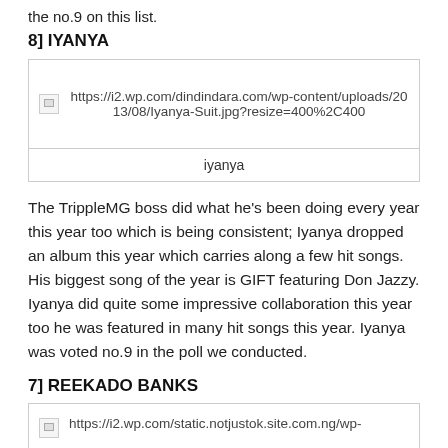the no.9 on this list.
8] IYANYA
[Figure (photo): Broken image placeholder with URL: https://i2.wp.com/dindindara.com/wp-content/uploads/2013/08/Iyanya-Suit.jpg?resize=400%2C400 and caption: iyanya]
The TrippleMG boss did what he’s been doing every year this year too which is being consistent; Iyanya dropped an album this year which carries along a few hit songs. His biggest song of the year is GIFT featuring Don Jazzy. Iyanya did quite some impressive collaboration this year too he was featured in many hit songs this year.  Iyanya was voted no.9 in the poll we conducted.
7] REEKADO BANKS
[Figure (photo): Broken image placeholder with URL: https://i2.wp.com/static.notjustok.site.com.ng/wp-...]